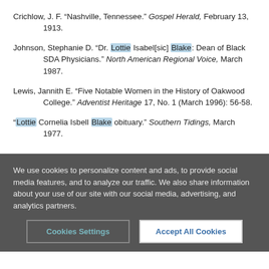Crichlow, J. F. “Nashville, Tennessee.” Gospel Herald, February 13, 1913.
Johnson, Stephanie D. “Dr. Lottie Isabel[sic] Blake: Dean of Black SDA Physicians.” North American Regional Voice, March 1987.
Lewis, Jannith E. “Five Notable Women in the History of Oakwood College.” Adventist Heritage 17, No. 1 (March 1996): 56-58.
“Lottie Cornelia Isbell Blake obituary.” Southern Tidings, March 1977.
We use cookies to personalize content and ads, to provide social media features, and to analyze our traffic. We also share information about your use of our site with our social media, advertising, and analytics partners.